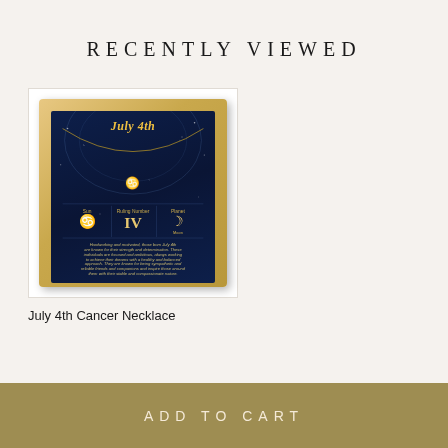RECENTLY VIEWED
[Figure (photo): Jewelry box containing a gold Cancer necklace with July 4th card background, showing zodiac information including Sun sign Cancer, Ruling Number IV, Planet Moon, with descriptive text about July 4th born individuals.]
July 4th Cancer Necklace
ADD TO CART